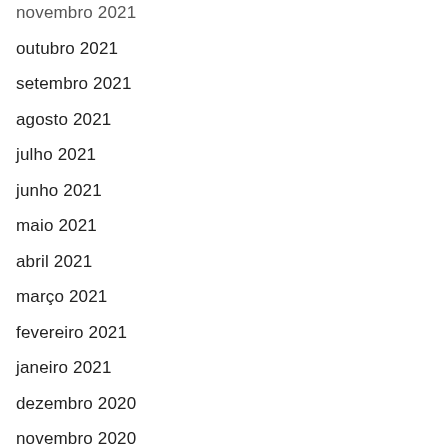novembro 2021
outubro 2021
setembro 2021
agosto 2021
julho 2021
junho 2021
maio 2021
abril 2021
março 2021
fevereiro 2021
janeiro 2021
dezembro 2020
novembro 2020
outubro 2020